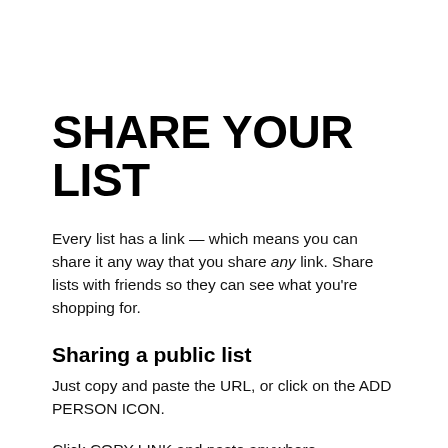SHARE YOUR LIST
Every list has a link — which means you can share it any way that you share any link. Share lists with friends so they can see what you're shopping for.
Sharing a public list
Just copy and paste the URL, or click on the ADD PERSON ICON.
Click COPY LINK and paste anywhere.